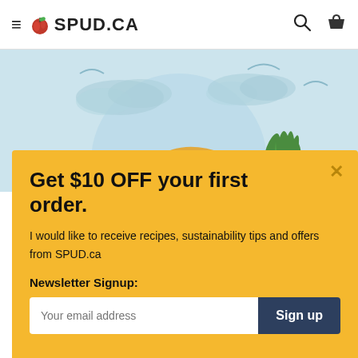≡ 🍎 SPUD.CA
[Figure (illustration): Light blue background with illustrated clouds, a large circular sun/moon shape, and partial view of a pineapple and other produce items in the lower portion]
Get $10 OFF your first order.
I would like to receive recipes, sustainability tips and offers from SPUD.ca
Newsletter Signup:
Your email address | Sign up